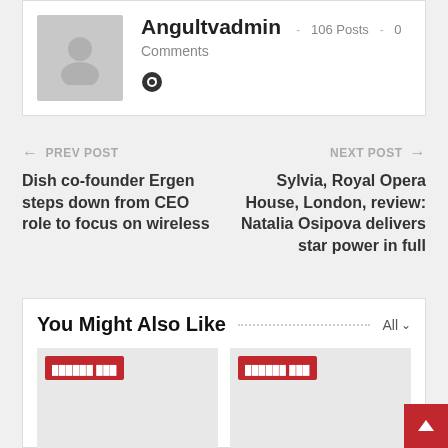Angultvadmin · 106 Posts · 0 Comments
PREV POST
Dish co-founder Ergen steps down from CEO role to focus on wireless
NEXT POST
Sylvia, Royal Opera House, London, review: Natalia Osipova delivers star power in full
You Might Also Like
[Figure (screenshot): Two placeholder image cards with red category badges]
[Figure (other): Back to top button (red, arrow up icon)]